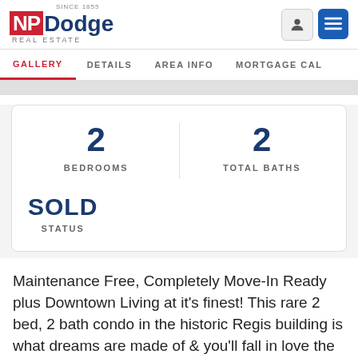NP Dodge Real Estate — SINCE 1855
GALLERY  DETAILS  AREA INFO  MORTGAGE CAL
2 BEDROOMS  |  2 TOTAL BATHS  |  SOLD STATUS
Maintenance Free, Completely Move-In Ready plus Downtown Living at it's finest! This rare 2 bed, 2 bath condo in the historic Regis building is what dreams are made of & you'll fall in love the moment you see it! The